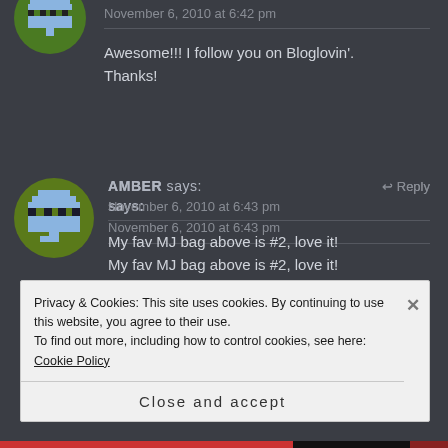[Figure (illustration): Pixel art avatar - blue ghost/alien character on dark green circular background, partially cropped at top of page]
November 6, 2010 at 6:42 pm
Awesome!!! I follow you on Bloglovin'. Thanks!
[Figure (illustration): Pixel art avatar - blue ghost/alien character on dark olive green circular background]
AMBER says:
↩ Reply
November 6, 2010 at 6:43 pm
My fav MJ bag above is #2, love it!
Privacy & Cookies: This site uses cookies. By continuing to use this website, you agree to their use.
To find out more, including how to control cookies, see here: Cookie Policy
Close and accept